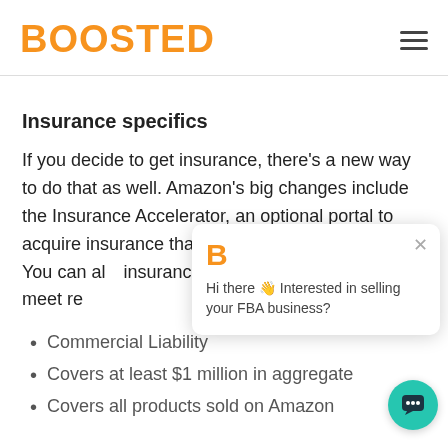BOOSTED
Insurance specifics
If you decide to get insurance, there’s a new way to do that as well. Amazon’s big changes include the Insurance Accelerator, an optional portal to acquire insurance that meets Amazon’s standards. You can al… insurance independe… will need to meet re…
Commercial Liability
Covers at least $1 million in aggregate
Covers all products sold on Amazon